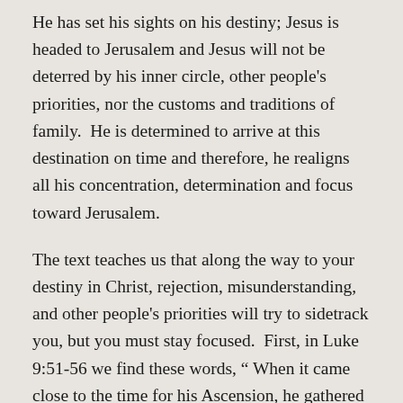He has set his sights on his destiny; Jesus is headed to Jerusalem and Jesus will not be deterred by his inner circle, other people's priorities, nor the customs and traditions of family.  He is determined to arrive at this destination on time and therefore, he realigns all his concentration, determination and focus toward Jerusalem.
The text teaches us that along the way to your destiny in Christ, rejection, misunderstanding, and other people's priorities will try to sidetrack you, but you must stay focused.  First, in Luke 9:51-56 we find these words, “ When it came close to the time for his Ascension, he gathered up his courage and steeled himself for the journey to Jerusalem. He...